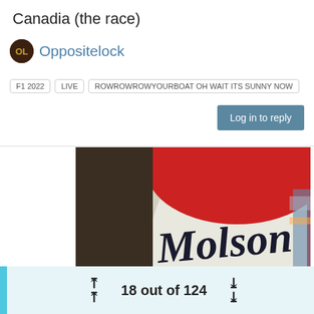Canadia (the race)
Oppositelock
F1 2022   LIVE   ROWROWROWYOURBOAT OH WAIT ITS SUNNY NOW
Log in to reply
[Figure (photo): A hand holding a Molson Canadian Lager beer can close-up, with a computer monitor or TV visible blurred in the background showing what appears to be an F1 race broadcast.]
18 out of 124